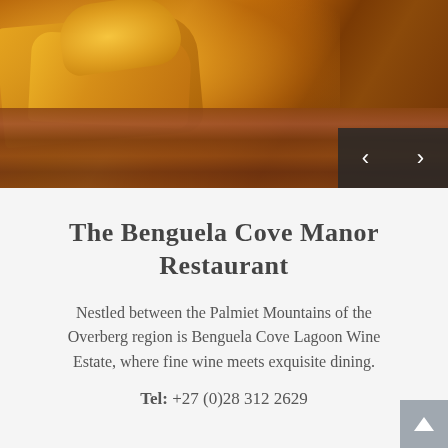[Figure (photo): Close-up photo of golden fried food (chips/fries and a bread roll) on a wooden board, with warm sunlit tones.]
The Benguela Cove Manor Restaurant
Nestled between the Palmiet Mountains of the Overberg region is Benguela Cove Lagoon Wine Estate, where fine wine meets exquisite dining.
Tel: +27 (0)28 312 2629